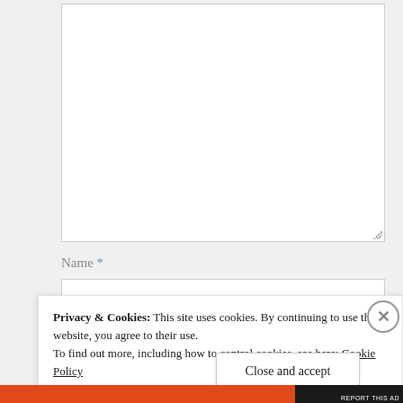[Figure (screenshot): A large empty textarea form field with a resize handle in the bottom-right corner]
Name *
[Figure (screenshot): A text input field for the Name form field]
Privacy & Cookies: This site uses cookies. By continuing to use this website, you agree to their use.
To find out more, including how to control cookies, see here: Cookie Policy
Close and accept